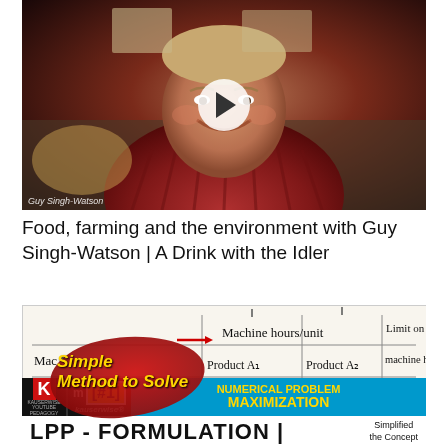[Figure (screenshot): Video thumbnail showing a smiling man in a red plaid shirt with a play button overlay. Label reads 'Guy Singh-Watson' at bottom left.]
Food, farming and the environment with Guy Singh-Watson | A Drink with the Idler
[Figure (screenshot): Screenshot of an educational math video showing a whiteboard with a table about Machine hours/unit for Product A1 and Product A2, with a red splat graphic overlay reading 'Simple Method to Solve', and a bottom banner with Kauserwise logo, #1, and 'NUMERICAL PROBLEM MAXIMIZATION'. Below shows 'LPP - FORMULATION | Simplified the Concept'.]